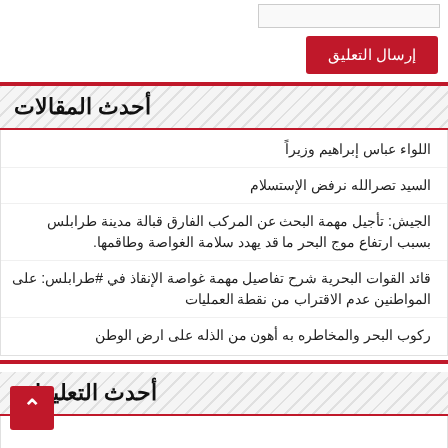إرسال التعليق
أحدث المقالات
اللواء عباس إبراهيم وزيراً
السيد تصرالله نرفض الإستسلام
الجيش: تأجيل مهمة البحث عن المركب الفارق قبالة مدينة طرابلس بسبب ارتفاع موج البحر ما قد يهدد سلامة الغواصة وطاقمها.
قائد القوات البحرية شرح تفاصيل مهمة غواصة الإنقاذ في #طرابلس: على المواطنين عدم الاقتراب من نقطة العمليات
ركوب البحر والمخاطره به أهون من الذله على ارض الوطن
أحدث التعليقات